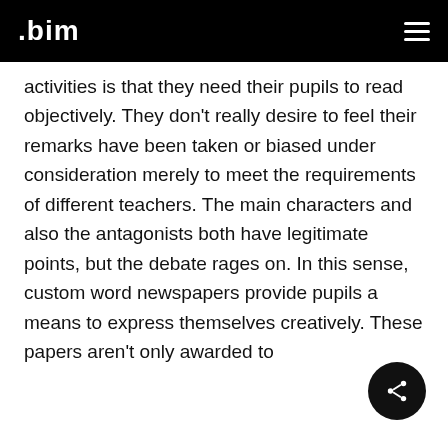.bim
activities is that they need their pupils to read objectively. They don't really desire to feel their remarks have been taken or biased under consideration merely to meet the requirements of different teachers. The main characters and also the antagonists both have legitimate points, but the debate rages on. In this sense, custom word newspapers provide pupils a means to express themselves creatively. These papers aren't only awarded to